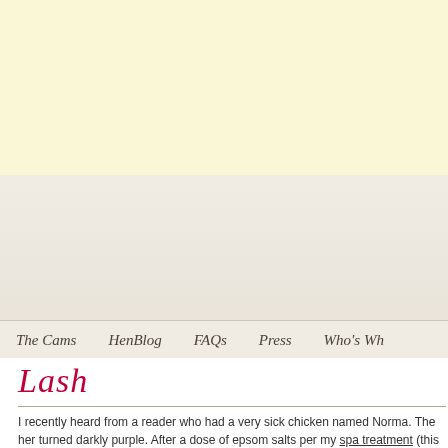[Figure (other): Light yellow banner/header area at top of webpage]
[Figure (other): Torn paper effect decorative element with beige/cream gradient background]
The Cams   HenBlog   FAQs   Press   Who's Wh
Lash
I recently heard from a reader who had a very sick chicken named Norma. The her turned darkly purple. After a dose of epsom salts per my spa treatment (this hen w about and began to eat again.